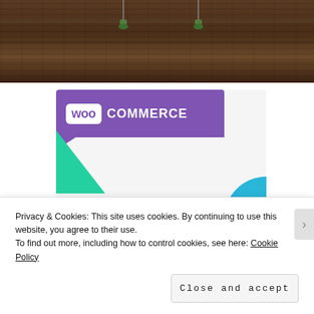[Figure (photo): Top portion of a photo showing a wooden ceiling or wall with hanging potted plants, dark brown tones]
[Figure (screenshot): WooCommerce promotional banner with purple header showing WooCommerce logo, green triangle accent, blue quarter-circle accent, and text 'How to start selling subscriptions online']
Privacy & Cookies: This site uses cookies. By continuing to use this website, you agree to their use.
To find out more, including how to control cookies, see here: Cookie Policy
Close and accept